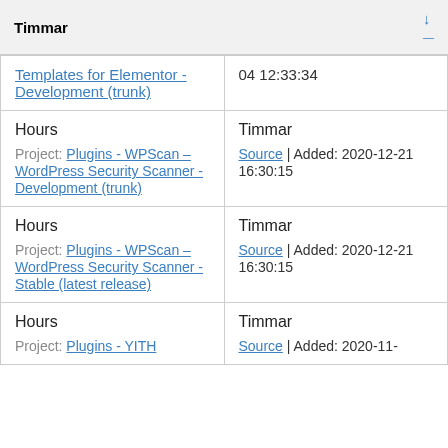Timmar
| Templates for Elementor - Development (trunk) | 04 12:33:34 |
| Hours
Project: Plugins - WPScan – WordPress Security Scanner - Development (trunk) | Timmar
Source | Added: 2020-12-21 16:30:15 |
| Hours
Project: Plugins - WPScan – WordPress Security Scanner - Stable (latest release) | Timmar
Source | Added: 2020-12-21 16:30:15 |
| Hours
Project: Plugins - YITH | Timmar
Source | Added: 2020-11- |